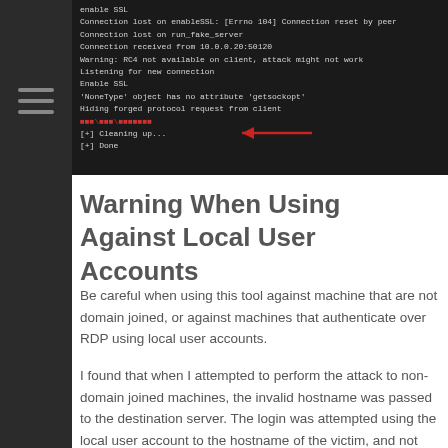[Figure (screenshot): Terminal/console screenshot showing SSL connection output with red highlighted text and a red arrow pointing to it. Lines include: enable SSL, Connection lost on enableSSL: [Errno 104] Connection reset by peer, Connection lost on run_fake_server, Connection received from 10.0.0.20:50120, Warning: RC4 not available on client, attack might not work, Listening for new connection, Enable SSL, 'NoneType' object has no attribute 'getsockopt', Hiding forged protocol request from client, [red text redacted], [+] Cleaning up..., [+] Done]
Warning When Using Against Local User Accounts
Be careful when using this tool against machine that are not domain joined, or against machines that authenticate over RDP using local user accounts.
I found that when I attempted to perform the attack to non-domain joined machines, the invalid hostname was passed to the destination server. The login was attempted using the local user account to the hostname of the victim, and not the local user account on the hostname of the destination. The